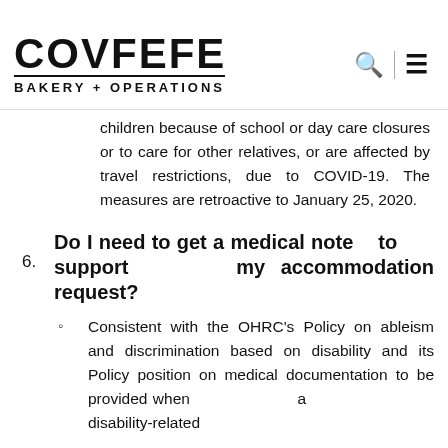COVFEFE BAKERY + OPERATIONS
need to be away from work to care for children because of school or day care closures or to care for other relatives, or are affected by travel restrictions, due to COVID-19. The measures are retroactive to January 25, 2020.
6. Do I need to get a medical note to support my accommodation request?
Consistent with the OHRC's Policy on ableism and discrimination based on disability and its Policy position on medical documentation to be provided when a disability-related